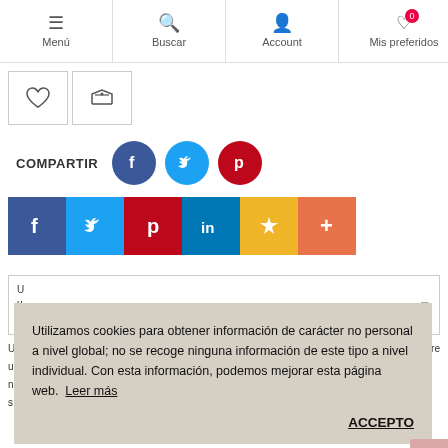Menú | Buscar | Account | Mis preferidos | Co...
[Figure (screenshot): Action buttons row: heart icon and balance scale icon]
COMPARTIR
[Figure (screenshot): Social share circular buttons: Facebook (f), Twitter bird, Pinterest (p)]
[Figure (screenshot): Square social share buttons: Facebook (f), Twitter (t), Pinterest (p), LinkedIn (in), Favorites star, Plus (+)]
Utilizamos cookies para obtener información de carácter no personal a nivel global; no se recoge ninguna información de este tipo a nivel individual. Con esta información, podemos mejorar esta página web.  Leer más
ACCEPTO